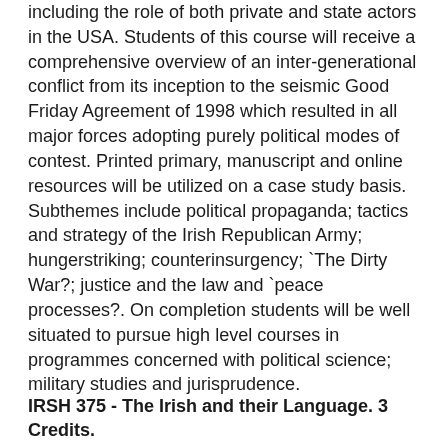including the role of both private and state actors in the USA. Students of this course will receive a comprehensive overview of an inter-generational conflict from its inception to the seismic Good Friday Agreement of 1998 which resulted in all major forces adopting purely political modes of contest. Printed primary, manuscript and online resources will be utilized on a case study basis. Subthemes include political propaganda; tactics and strategy of the Irish Republican Army; hungerstriking; counterinsurgency; `The Dirty War?; justice and the law and `peace processes?. On completion students will be well situated to pursue high level courses in programmes concerned with political science; military studies and jurisprudence.
IRSH 375 - The Irish and their Language. 3 Credits.